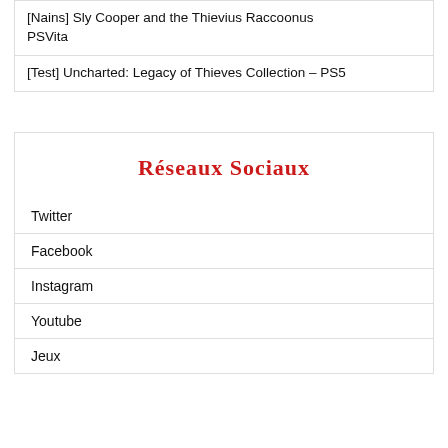[Nains] Sly Cooper and the Thievius Raccoonus PSVita
[Test] Uncharted: Legacy of Thieves Collection – PS5
Réseaux Sociaux
Twitter
Facebook
Instagram
Youtube
Jeux